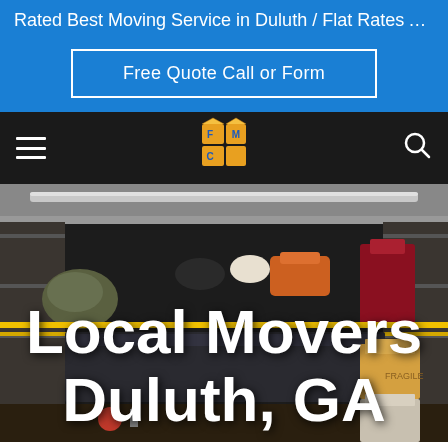Rated Best Moving Service in Duluth / Flat Rates Available / F...
Free Quote Call or Form
[Figure (logo): FMC moving company logo with boxes]
[Figure (photo): Interior of a moving truck packed with furniture, boxes, and household items. Yellow straps visible. Dark background.]
Local Movers Duluth, GA